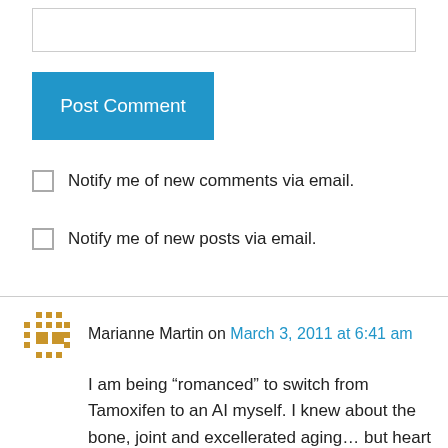[Figure (other): Text input box for comment entry]
Post Comment
Notify me of new comments via email.
Notify me of new posts via email.
Marianne Martin on March 3, 2011 at 6:41 am
I am being “romanced” to switch from Tamoxifen to an AI myself. I knew about the bone, joint and excellerated aging… but heart problems to boot? Crap!!!!!!! Please keep blogging. I am a year behind you in this journey. My girlfriend is a year behind me. I am doing the Komen this summer. Nothing like your athletic endeavors, but it is so